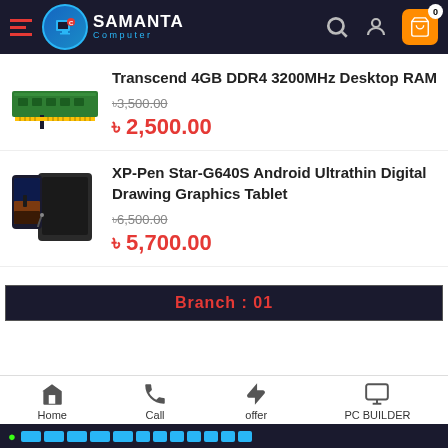Samanta Computer - navigation header with logo, search, account, and cart icons
Transcend 4GB DDR4 3200MHz Desktop RAM
৳3,500.00 (strikethrough) ৳2,500.00
XP-Pen Star-G640S Android Ultrathin Digital Drawing Graphics Tablet
৳6,500.00 (strikethrough) ৳5,700.00
Branch : 01
Home | Call | offer | PC BUILDER